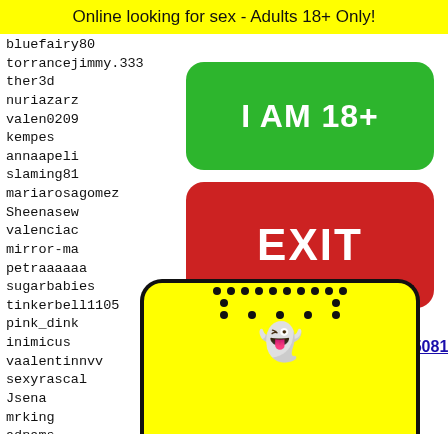Online looking for sex - Adults 18+ Only!
bluefairy80
torrancejimmy.333
ther3d
nuriazarz...
valen0209...
kempes
annaapeli...
slaming81...
mariarosagomez
Sheenasew...
valenciac...
mirror-ma...
petraaaaaa...
sugarbabies...
tinkerbell1105
pink_dink
inimicus
vaalentinnvv
sexyrascal
Jsena
mrking
adnams
kitesu...
mrsoup...
vieite...
diwoo
[Figure (infographic): Green button saying I AM 18+]
[Figure (infographic): Red button saying EXIT]
35077 35078 35079 35080 35081
[Figure (illustration): Snapchat ghost logo on yellow background with black dots border]